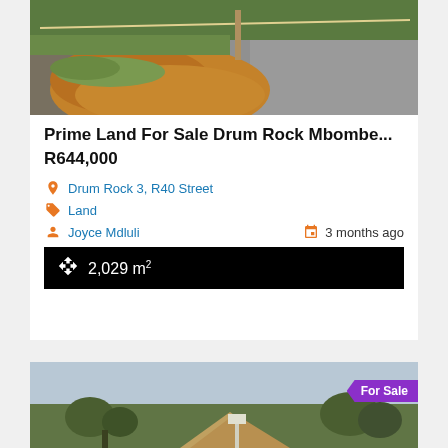[Figure (photo): Aerial/roadside photo of land plot showing red soil mound, green grass, and dirt road with fence post]
Prime Land For Sale Drum Rock Mbombe...
R644,000
Drum Rock 3, R40 Street
Land
Joyce Mdluli
3 months ago
2,029 m²
[Figure (photo): Landscape photo of vacant land with trees, dirt road and overcast sky with 'For Sale' badge]